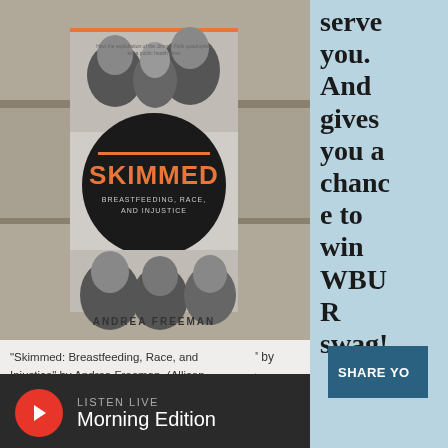[Figure (photo): Book cover of 'Skimmed: Breastfeeding, Race, and Injustice' by Andrea Freeman, placed on stone steps. Black and white photo of infants on the cover with orange title text on a black circle.]
"Skimmed: Breastfeeding, Race, and Injustice" by Andrea Freeman. (Allison Hagan/Here & Now)
This article is more than 2 years old.
serve you. And gives you a chance to win WBUR swag!
SHARE YO
LISTEN LIVE Morning Edition